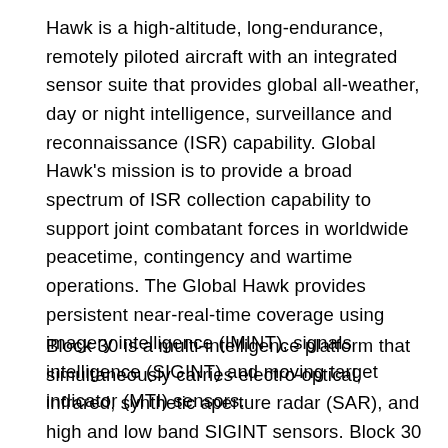Hawk is a high-altitude, long-endurance, remotely piloted aircraft with an integrated sensor suite that provides global all-weather, day or night intelligence, surveillance and reconnaissance (ISR) capability. Global Hawk's mission is to provide a broad spectrum of ISR collection capability to support joint combatant forces in worldwide peacetime, contingency and wartime operations. The Global Hawk provides persistent near-real-time coverage using imagery intelligence (IMINT), signals intelligence (SIGINT) and moving target indicator (MTI) sensors.
Block 30 is a multi-intelligence platform that simultaneously carries electro-optical, infrared, synthetic aperture radar (SAR), and high and low band SIGINT sensors. Block 30 Initial Operating